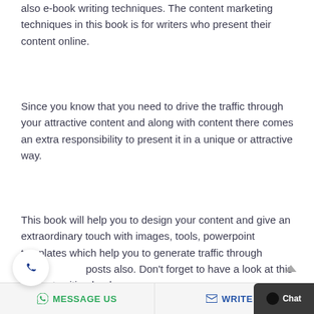also e-book writing techniques. The content marketing techniques in this book is for writers who present their content online.
Since you know that you need to drive the traffic through your attractive content and along with content there comes an extra responsibility to present it in a unique or attractive way.
This book will help you to design your content and give an extraordinary touch with images, tools, powerpoint templates which help you to generate traffic through social posts also. Don't forget to have a look at this content writing book.
MESSAGE US   WRITE U   Chat